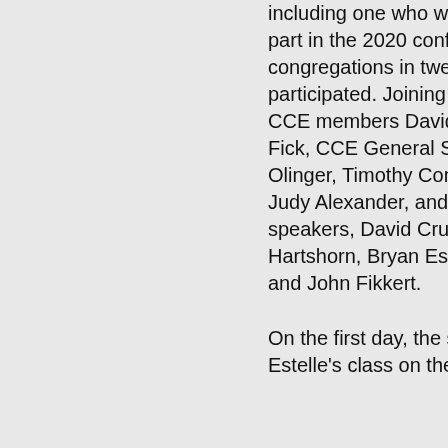including one who was originally to take part in the 2020 conference—from fifteen congregations in twelve different states participated. Joining the participants were CCE members David VanDrunen and Joel Fick, CCE General Secretary Danny Olinger, Timothy Conference coordinator Judy Alexander, and OPC ministers and speakers, David Crum, Christopher Hartshorn, Bryan Estelle, Zachary Keele, and John Fikkert.
On the first day, the students attended Dr. Estelle's class on the